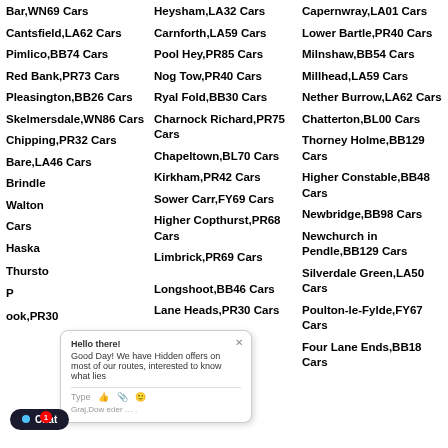Bar,WN69 Cars
Heysham,LA32 Cars
Capernwray,LA01 Cars
Cantsfield,LA62 Cars
Carnforth,LA59 Cars
Lower Bartle,PR40 Cars
Pimlico,BB74 Cars
Pool Hey,PR85 Cars
Milnshaw,BB54 Cars
Red Bank,PR73 Cars
Nog Tow,PR40 Cars
Millhead,LA59 Cars
Pleasington,BB26 Cars
Ryal Fold,BB30 Cars
Nether Burrow,LA62 Cars
Skelmersdale,WN86 Cars
Charnock Richard,PR75 Cars
Chatterton,BL00 Cars
Chipping,PR32 Cars
Chapeltown,BL70 Cars
Thorney Holme,BB129 Cars
Bare,LA46 Cars
Kirkham,PR42 Cars
Higher Constable,BB48 Cars
Brindle, Cars
Sower Carr,FY69 Cars
Newbridge,BB98 Cars
Walton, Cars
Higher Copthurst,PR68 Cars
Newchurch in Pendle,BB129 Cars
Cars
Limbrick,PR69 Cars
Silverdale Green,LA50 Cars
Haska, Cars
Poulton-le-Fylde,FY67 Cars
Thurston, Cars
Longshoot,BB46 Cars
Four Lane Ends,BB18 Cars
Paddock,PR30 Cars
Lane Heads,PR30 Cars